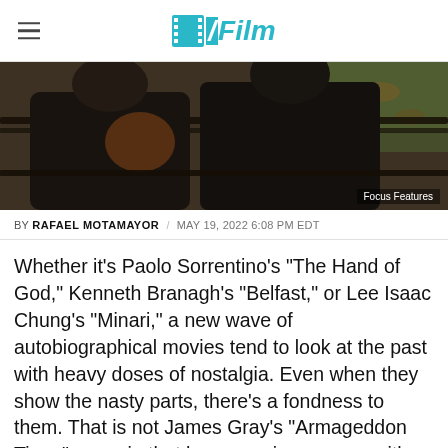/Film
[Figure (photo): Two people sitting on a park bench, wearing dark winter jackets, with autumn leaves and grass visible in background. Photo credit: Focus Features.]
Focus Features
BY RAFAEL MOTAMAYOR / MAY 19, 2022 6:08 PM EDT
Whether it's Paolo Sorrentino's "The Hand of God," Kenneth Branagh's "Belfast," or Lee Isaac Chung's "Minari," a new wave of autobiographical movies tend to look at the past with heavy doses of nostalgia. Even when they show the nasty parts, there's a fondness to them. That is not James Gray's "Armageddon Time," a movie that has more in common with Alfonso Cuarón's retroactive apology film, "Roma," than Richard Linklater's animated "Apolo 10 ½."